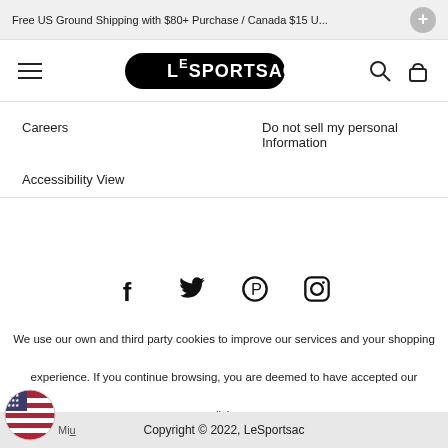Free US Ground Shipping with $80+ Purchase / Canada $15 U...
[Figure (logo): LeSportsac logo — black oval with white text]
Careers
Do not sell my personal Information
Accessibility View
[Figure (infographic): Social media icons: Facebook, Twitter, Pinterest, Instagram]
We use our own and third party cookies to improve our services and your shopping experience. If you continue browsing, you are deemed to have accepted our policies. Terms & Conditions  Privacy Policy
Copyright © 2022, LeSportsac